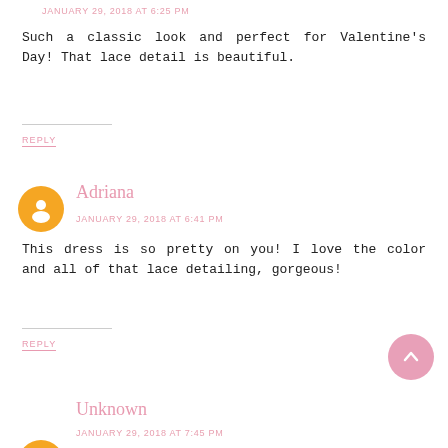JANUARY 29, 2018 AT 6:25 PM
Such a classic look and perfect for Valentine's Day! That lace detail is beautiful.
REPLY
Adriana
JANUARY 29, 2018 AT 6:41 PM
This dress is so pretty on you! I love the color and all of that lace detailing, gorgeous!
REPLY
Unknown
JANUARY 29, 2018 AT 7:45 PM